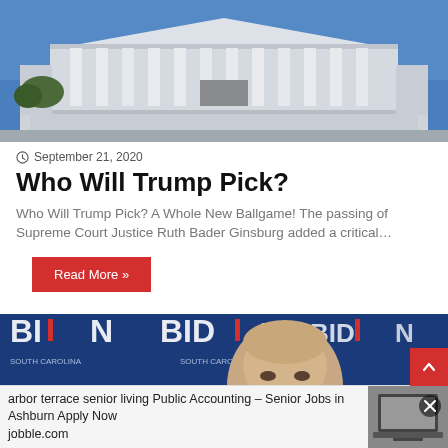[Figure (photo): Photo of the United States Supreme Court building, frontal view with columns and blue sky]
September 21, 2020
Who Will Trump Pick?
Who Will Trump Pick? A Whole New Ballgame! The passing of Supreme Court Justice Ruth Bader Ginsburg added a critical…
Read More »
[Figure (photo): Photo of Joe Biden at a campaign event with Biden campaign banners in background]
arbor terrace senior living Public Accounting – Senior Jobs in Ashburn Apply Now
jobble.com